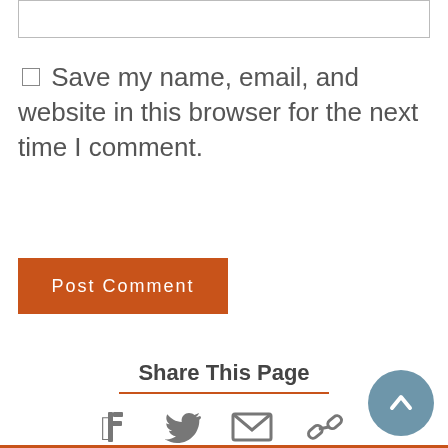[Figure (other): Text input box (form field)]
☐Save my name, email, and website in this browser for the next time I comment.
[Figure (other): Post Comment button (orange)]
Share This Page
[Figure (other): Social share icons: Facebook, Twitter, Email, Link]
[Figure (other): Back to top button (blue circle with up chevron)]